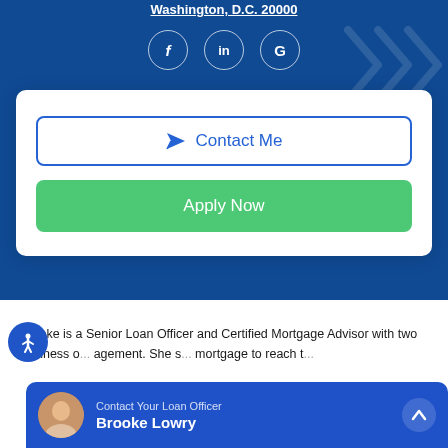Washington, D.C. 20000
[Figure (infographic): Social media icons: Facebook (f), LinkedIn (in), Google (G) in circular outlines on blue background]
[Figure (infographic): White card with 'Contact Me' outlined button (blue, with send icon) and 'Apply Now' green button]
Brooke is a Senior Loan Officer and Certified Mortgage Advisor with two business o... agement. She s... mortgage to reach t...
[Figure (infographic): Contact bar overlay: avatar photo of Brooke Lowry, label 'Contact Your Loan Officer', name 'Brooke Lowry', chevron up button]